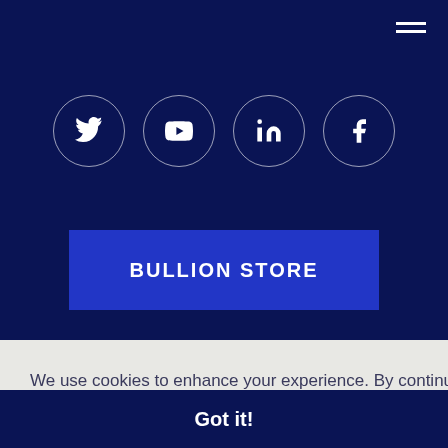[Figure (screenshot): Hamburger menu icon (three white horizontal lines) in top-right corner]
[Figure (infographic): Row of four social media icons in white circles (Twitter, YouTube, LinkedIn, Facebook) on dark navy background]
BULLION STORE
We use cookies to enhance your experience. By continuing to visit this site you agree to our use of cookies.
Learn more
VED
Got it!